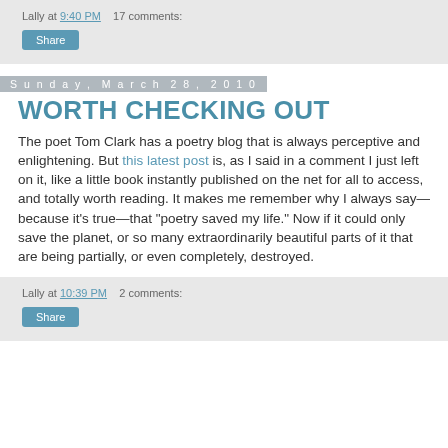Lally at 9:40 PM    17 comments:
Sunday, March 28, 2010
WORTH CHECKING OUT
The poet Tom Clark has a poetry blog that is always perceptive and enlightening. But this latest post is, as I said in a comment I just left on it, like a little book instantly published on the net for all to access, and totally worth reading. It makes me remember why I always say—because it's true—that "poetry saved my life." Now if it could only save the planet, or so many extraordinarily beautiful parts of it that are being partially, or even completely, destroyed.
Lally at 10:39 PM    2 comments: